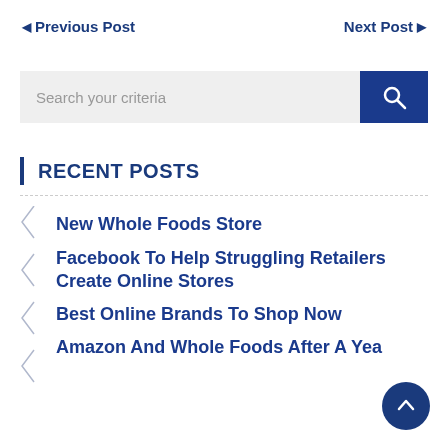◀ Previous Post | Next Post ▶
[Figure (screenshot): Search bar with placeholder text 'Search your criteria' and a blue search button with magnifying glass icon]
RECENT POSTS
New Whole Foods Store
Facebook To Help Struggling Retailers Create Online Stores
Best Online Brands To Shop Now
Amazon And Whole Foods After A Year